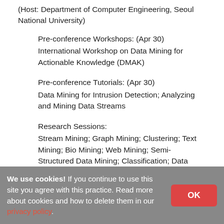(Host: Department of Computer Engineering, Seoul National University)
Pre-conference Workshops: (Apr 30) International Workshop on Data Mining for Actionable Knowledge (DMAK)
Pre-conference Tutorials: (Apr 30) Data Mining for Intrusion Detection; Analyzing and Mining Data Streams
Research Sessions: Stream Mining; Graph Mining; Clustering; Text Mining; Bio Mining; Web Mining; Semi-Structured Data Mining; Classification; Data Analysis
We use cookies! If you continue to use this site you agree with this practice. Read more about cookies and how to delete them in our privacy policy.